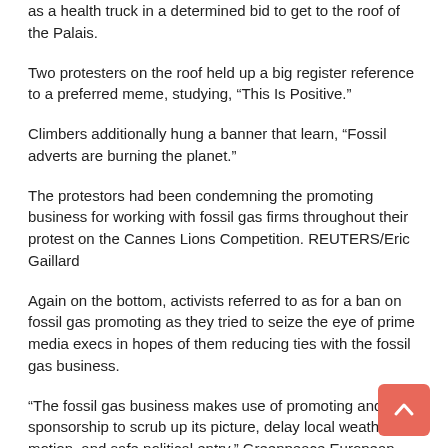as a health truck in a determined bid to get to the roof of the Palais.
Two protesters on the roof held up a big register reference to a preferred meme, studying, “This Is Positive.”
Climbers additionally hung a banner that learn, “Fossil adverts are burning the planet.”
The protestors had been condemning the promoting business for working with fossil gas firms throughout their protest on the Cannes Lions Competition. REUTERS/Eric Gaillard
Again on the bottom, activists referred to as for a ban on fossil gas promoting as they tried to seize the eye of prime media execs in hopes of them reducing ties with the fossil gas business.
“The fossil gas business makes use of promoting and sponsorship to scrub up its picture, delay local weather motion, and safe political entry,” Greenpeace European Unit Campaigner, Silvia Pastorelli, stated in a press release.
“After we see shiny billboards of the most recent electrical